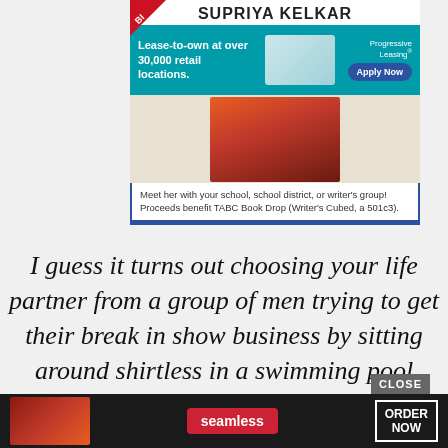[Figure (screenshot): Author promotion banner for Supriya Kelkar with Progressive Leasing ad overlay and book illustration]
SUPRIYA KELKAR
[Figure (infographic): Progressive Leasing ad: Lease-to-own at over 30,000 retail locations. Apply Now.]
Lease-to-own at over 30,000 retail locations.
Meet her with your school, school district, or writer's group! Proceeds benefit TABC Book Drop (Writer's Cubed, a 501c3).
I guess it turns out choosing your life partner from a group of men trying to get their break in show business by sitting around shirtless in a swimming pool while cameras watch around the clock isn't the path to a soulmate after
[Figure (screenshot): Seamless food delivery advertisement with pizza image and ORDER NOW button]